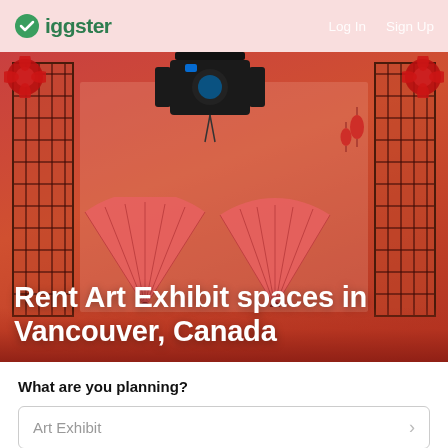Giggster   Log In   Sign Up
[Figure (photo): Hero image showing a red-themed studio set with Japanese-style shoji screens, decorative fans, red flowers, and a camera rig suspended from above. Overlaid with title text: Rent Art Exhibit spaces in Vancouver, Canada]
Rent Art Exhibit spaces in Vancouver, Canada
What are you planning?
Art Exhibit